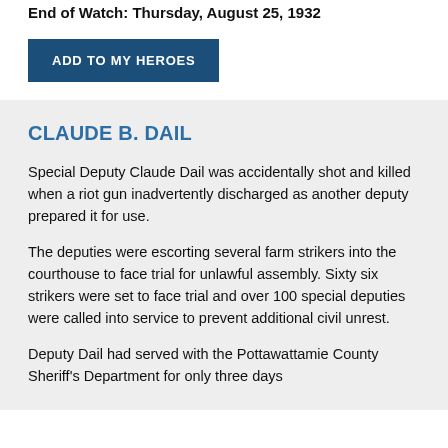End of Watch: Thursday, August 25, 1932
ADD TO MY HEROES
CLAUDE B. DAIL
Special Deputy Claude Dail was accidentally shot and killed when a riot gun inadvertently discharged as another deputy prepared it for use.
The deputies were escorting several farm strikers into the courthouse to face trial for unlawful assembly. Sixty six strikers were set to face trial and over 100 special deputies were called into service to prevent additional civil unrest.
Deputy Dail had served with the Pottawattamie County Sheriff's Department for only three days